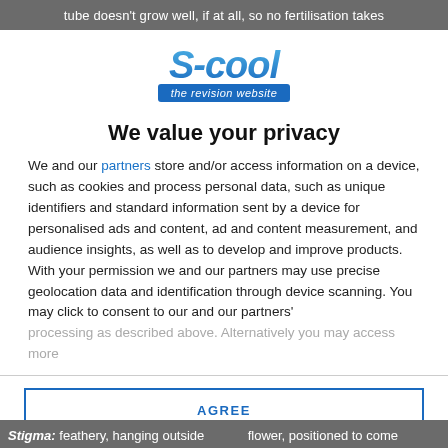tube doesn't grow well, if at all, so no fertilisation takes
[Figure (logo): S-cool the revision website logo in blue with stylized text]
We value your privacy
We and our partners store and/or access information on a device, such as cookies and process personal data, such as unique identifiers and standard information sent by a device for personalised ads and content, ad and content measurement, and audience insights, as well as to develop and improve products. With your permission we and our partners may use precise geolocation data and identification through device scanning. You may click to consent to our and our partners' processing as described above. Alternatively you may access more
AGREE
MORE OPTIONS
Stigma: feathery, hanging outside flower, positioned to come